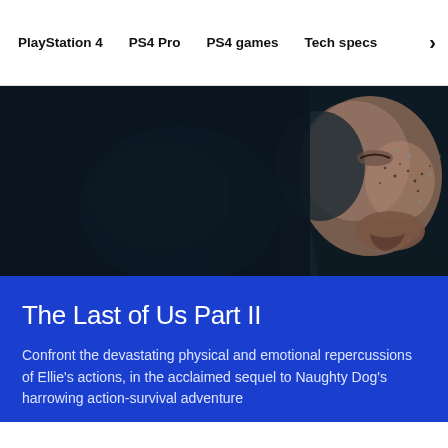PlayStation 4  PS4 Pro  PS4 games  Tech specs
[Figure (photo): Dark cinematic close-up of a young woman's face with freckles and rain drops, partially lit, against a dark moody background — promotional image for The Last of Us Part II]
The Last of Us Part II
Confront the devastating physical and emotional repercussions of Ellie's actions, in the acclaimed sequel to Naughty Dog's harrowing action-survival adventure